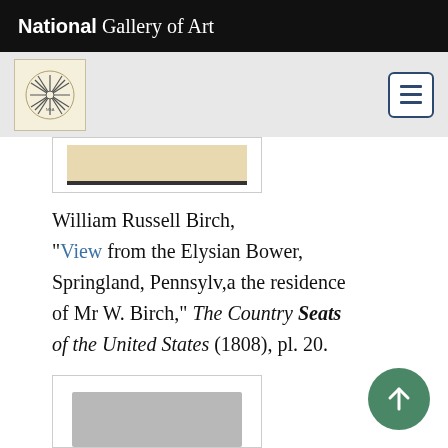National Gallery of Art
[Figure (logo): NGA compass/star logo on beige background]
[Figure (photo): Partial view of a framed artwork showing a beige/cream rectangular image with dark frame border]
William Russell Birch, “View from the Elysian Bower, Springland, Pennsylv,a the residence of Mr W. Birch,” The Country Seats of the United States (1808), pl. 20.
[Figure (photo): Partial view of a framed artwork showing a gray cloudy/landscape image]